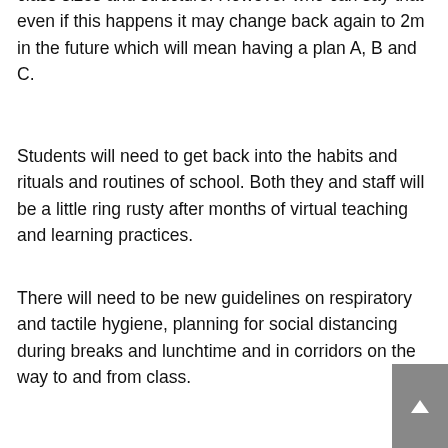class sizes and structure. However who can say that even if this happens it may change back again to 2m in the future which will mean having a plan A, B and C.
Students will need to get back into the habits and rituals and routines of school. Both they and staff will be a little ring rusty after months of virtual teaching and learning practices.
There will need to be new guidelines on respiratory and tactile hygiene, planning for social distancing during breaks and lunchtime and in corridors on the way to and from class.
It will take time to adjust, but it can be done and to help in the process I have designed a training programme for schools called it the SF3R approach.
S stands for Structure as staff will need to teach not just their subject material but how the students will need to adhere to the new safety